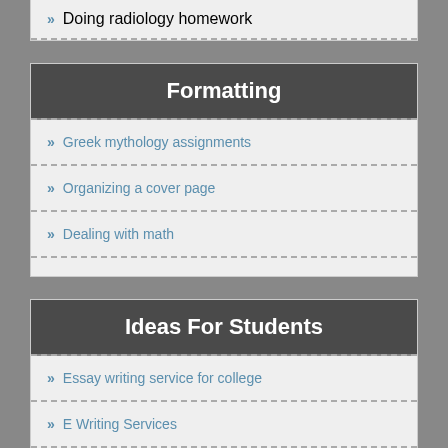Doing radiology homework
Formatting
Greek mythology assignments
Organizing a cover page
Dealing with math
Ideas For Students
Essay writing service for college
E Writing Services